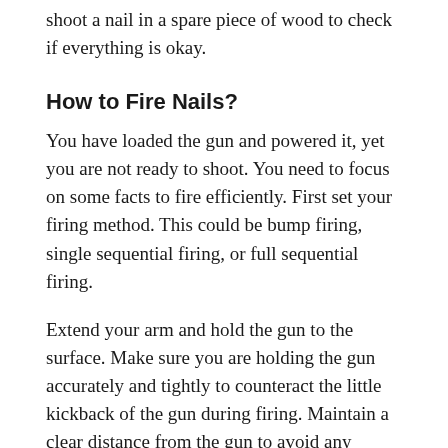shoot a nail in a spare piece of wood to check if everything is okay.
How to Fire Nails?
You have loaded the gun and powered it, yet you are not ready to shoot. You need to focus on some facts to fire efficiently. First set your firing method. This could be bump firing, single sequential firing, or full sequential firing.
Extend your arm and hold the gun to the surface. Make sure you are holding the gun accurately and tightly to counteract the little kickback of the gun during firing. Maintain a clear distance from the gun to avoid any injury.